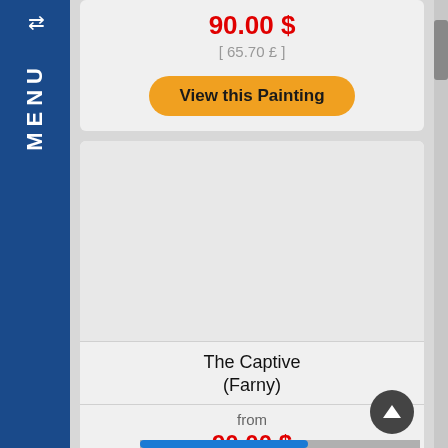MENU
90.00 $
[ 65.70 £ ]
View this Painting
[Figure (photo): Empty gray image placeholder for painting]
The Captive
(Farny)
from
90.00 $